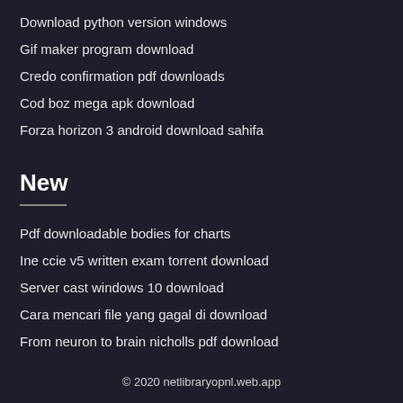Download python version windows
Gif maker program download
Credo confirmation pdf downloads
Cod boz mega apk download
Forza horizon 3 android download sahifa
New
Pdf downloadable bodies for charts
Ine ccie v5 written exam torrent download
Server cast windows 10 download
Cara mencari file yang gagal di download
From neuron to brain nicholls pdf download
© 2020 netlibraryopnl.web.app